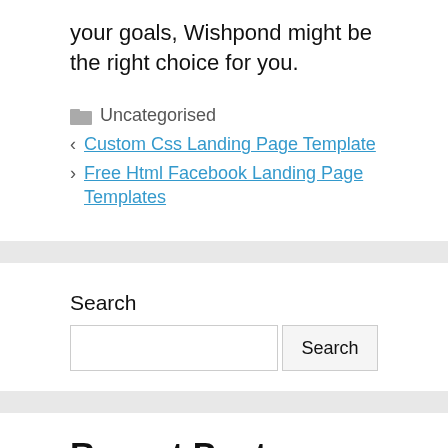your goals, Wishpond might be the right choice for you.
Uncategorised
Custom Css Landing Page Template
Free Html Facebook Landing Page Templates
Search
Recent Posts